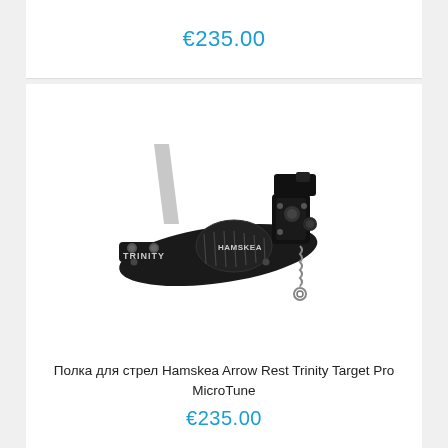€235.00
[Figure (photo): Hamskea Arrow Rest Trinity Target Pro MicroTune product photo — black aluminum arrow rest with spring mechanism, labeled TRINITY and HAMSKEA]
Полка для стрел Hamskea Arrow Rest Trinity Target Pro MicroTune
€235.00